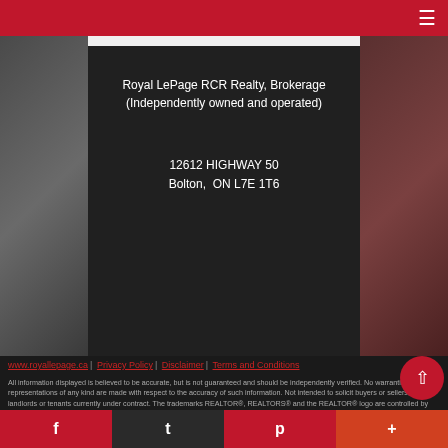Royal LePage RCR Realty, Brokerage (Independently owned and operated)
12612 HIGHWAY 50
Bolton,  ON L7E 1T6
www.royallepage.ca | Privacy Policy | Disclaimer | Terms and Conditions
All information displayed is believed to be accurate, but is not guaranteed and should be independently verified. No warranties or representations of any kind are made with respect to the accuracy of such information. Not intended to solicit buyers or sellers, landlords or tenants currently under contract. The trademarks REALTOR®, REALTORS® and the REALTOR® logo are controlled by The Canadian Real Estate Association (CREA) and identify real estate professionals who are members of CREA. The trademarks MLS®, Multiple Listing Service® and the associated logos are owned by CREA and identify the quality of services provided by real estate professionals who are members of CREA. REALTOR® contact information provided to facilitate inquiries from consumers interested in Real Estate services. Please do not contact the website owner with unsolicited commercial offers.
Copyright© 2022 Jumptools® Inc. Real Estate Websites for Agents and Brokers